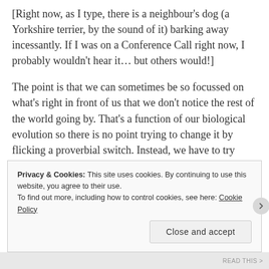[Right now, as I type, there is a neighbour's dog (a Yorkshire terrier, by the sound of it) barking away incessantly. If I was on a Conference Call right now, I probably wouldn't hear it… but others would!]
The point is that we can sometimes be so focussed on what's right in front of us that we don't notice the rest of the world going by. That's a function of our biological evolution so there is no point trying to change it by flicking a proverbial switch. Instead, we have to try ensure we're in a position that it doesn't become an issue.
Privacy & Cookies: This site uses cookies. By continuing to use this website, you agree to their use. To find out more, including how to control cookies, see here: Cookie Policy
Close and accept